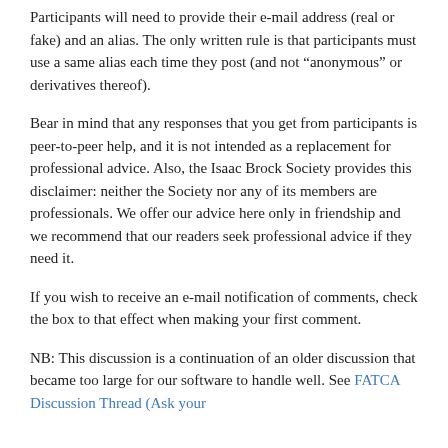Participants will need to provide their e-mail address (real or fake) and an alias. The only written rule is that participants must use a same alias each time they post (and not “anonymous” or derivatives thereof).
Bear in mind that any responses that you get from participants is peer-to-peer help, and it is not intended as a replacement for professional advice. Also, the Isaac Brock Society provides this disclaimer: neither the Society nor any of its members are professionals. We offer our advice here only in friendship and we recommend that our readers seek professional advice if they need it.
If you wish to receive an e-mail notification of comments, check the box to that effect when making your first comment.
NB: This discussion is a continuation of an older discussion that became too large for our software to handle well. See FATCA Discussion Thread (Ask your…